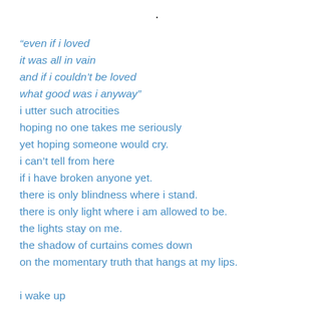.
“even if i loved
it was all in vain
and if i couldn’t be loved
what good was i anyway”
i utter such atrocities
hoping no one takes me seriously
yet hoping someone would cry.
i can’t tell from here
if i have broken anyone yet.
there is only blindness where i stand.
there is only light where i am allowed to be.
the lights stay on me.
the shadow of curtains comes down
on the momentary truth that hangs at my lips.

i wake up